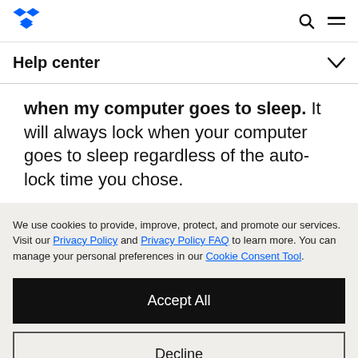Dropbox logo, search, menu
Help center
when my computer goes to sleep. It will always lock when your computer goes to sleep regardless of the auto-lock time you chose.
We use cookies to provide, improve, protect, and promote our services. Visit our Privacy Policy and Privacy Policy FAQ to learn more. You can manage your personal preferences in our Cookie Consent Tool.
Accept All
Decline